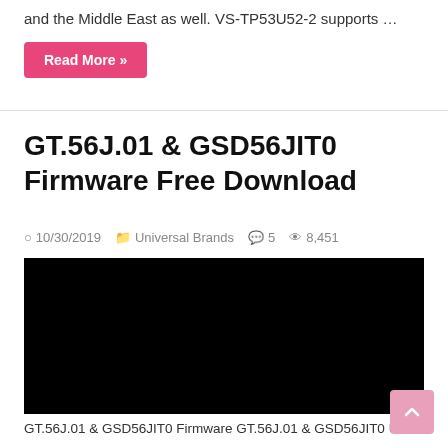and the Middle East as well. VS-TP53U52-2 supports …
Read More »
GT.56J.01 & GSD56JIT0 Firmware Free Download
10/30/2019   Universal Brands   5   8,451
[Figure (other): Black video embed placeholder]
GT.56J.01 & GSD56JIT0 Firmware GT.56J.01 & GSD56JIT0 Universal